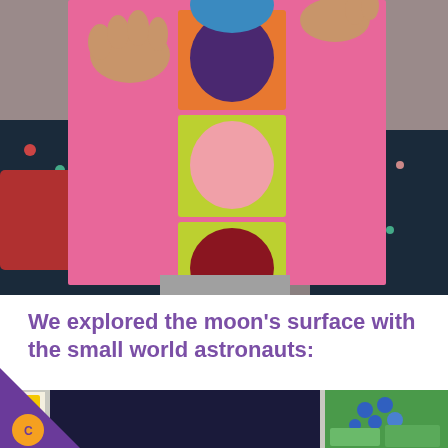[Figure (photo): A child holding up a large pink piece of paper/cardboard decorated with a vertical strip resembling a traffic light: orange square with purple circle on top, yellow-green square with pink circle in middle, yellow-green square with dark red circle at bottom.]
We explored the moon's surface with the small world astronauts:
[Figure (photo): Partial view of a classroom activity area with books, boxes, and decorations related to space/moon exploration.]